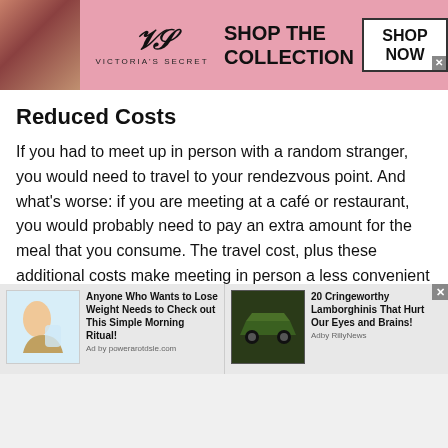[Figure (screenshot): Victoria's Secret advertisement banner with pink background, model photo on left, VS logo, 'SHOP THE COLLECTION' text, and 'SHOP NOW' button]
Reduced Costs
If you had to meet up in person with a random stranger, you would need to travel to your rendezvous point. And what’s worse: if you are meeting at a café or restaurant, you would probably need to pay an extra amount for the meal that you consume. The travel cost, plus these additional costs make meeting in person a less convenient option when compared to online chatting platforms.
With our site, you do not need to pay for any travel costs
[Figure (screenshot): Bottom advertisement bar with two ads: 'Anyone Who Wants to Lose Weight Needs to Check out This Simple Morning Ritual!' and '20 Cringeworthy Lamborghinis That Hurt Our Eyes and Brains!']